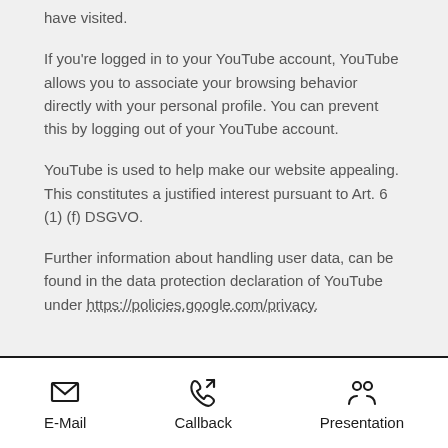have visited.
If you're logged in to your YouTube account, YouTube allows you to associate your browsing behavior directly with your personal profile. You can prevent this by logging out of your YouTube account.
YouTube is used to help make our website appealing. This constitutes a justified interest pursuant to Art. 6 (1) (f) DSGVO.
Further information about handling user data, can be found in the data protection declaration of YouTube under https://policies.google.com/privacy.
[Figure (infographic): Footer navigation bar with three icon-and-label items: E-Mail (envelope icon), Callback (phone with arrow icon), Presentation (two people icon)]